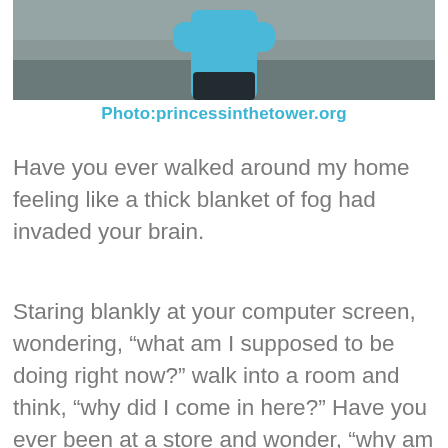[Figure (photo): Partial photo of a person in a blue shirt standing against a grey textured wall, cropped to show torso only]
Photo:princessinthetower.org
Have you ever walked around my home feeling like a thick blanket of fog had invaded your brain.
Staring blankly at your computer screen, wondering, “what am I supposed to be doing right now?” walk into a room and think, “why did I come in here?” Have you ever been at a store and wonder, “why am I here? Now, what was I supposed to get again?”
Have you ever felt so foggy in your brain that you couldn’t focus on tasks or concentrate on anything...at all? Have you ever almost